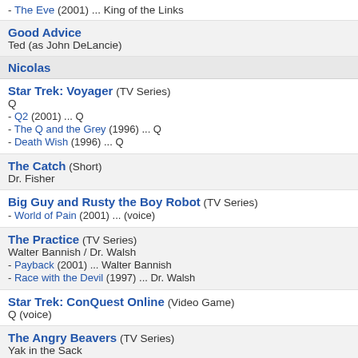- The Eve (2001) ... King of the Links
Good Advice
Ted (as John DeLancie)
Nicolas
Star Trek: Voyager (TV Series)
Q
- Q2 (2001) ... Q
- The Q and the Grey (1996) ... Q
- Death Wish (1996) ... Q
The Catch (Short)
Dr. Fisher
Big Guy and Rusty the Boy Robot (TV Series)
- World of Pain (2001) ... (voice)
The Practice (TV Series)
Walter Bannish / Dr. Walsh
- Payback (2001) ... Walter Bannish
- Race with the Devil (1997) ... Dr. Walsh
Star Trek: ConQuest Online (Video Game)
Q (voice)
The Angry Beavers (TV Series)
Yak in the Sack
- Canucks Amuck/Yak in the Sack (2000) ... Yak in the Sack (voice, as John Delancie)